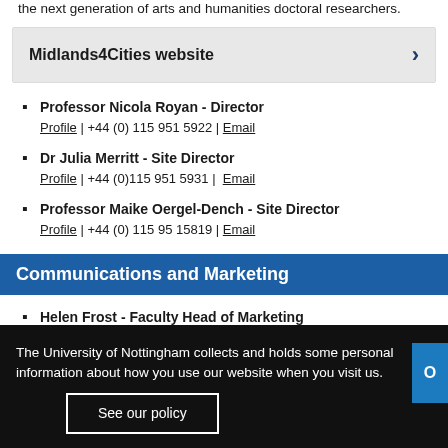the next generation of arts and humanities doctoral researchers.
Midlands4Cities website ›
Professor Nicola Royan - Director | Profile | +44 (0) 115 951 5922 | Email
Dr Julia Merritt - Site Director | Profile | +44 (0)115 951 5931 | Email
Professor Maike Oergel-Dench - Site Director | Profile | +44 (0) 115 95 15819 | Email
Communications and Marketing
Helen Frost - Faculty Head of Marketing | +44 (0)115 84 68502 | Email
Natalie Barenberg - Faculty Content and Communications
The University of Nottingham collects and holds some personal information about how you use our website when you visit us.
See our policy